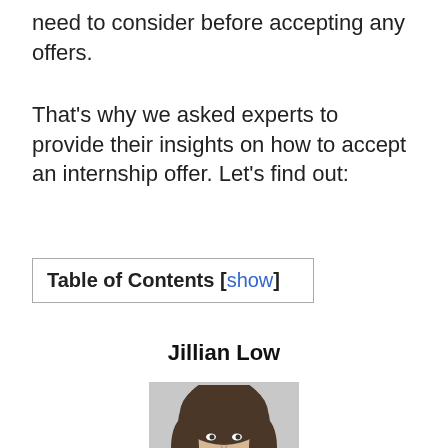need to consider before accepting any offers.
That's why we asked experts to provide their insights on how to accept an internship offer. Let's find out:
Table of Contents [show]
Jillian Low
[Figure (photo): Headshot photo of Jillian Low, a woman with dark hair, shown in grayscale]